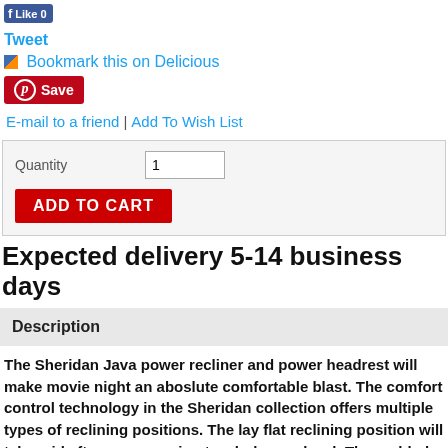[Figure (screenshot): Facebook Like button with count 0]
Tweet
Bookmark this on Delicious
Save
E-mail to a friend | Add To Wish List
| Quantity | 1 |
| ADD TO CART |  |
Expected delivery 5-14 business days
Description
The Sheridan Java power recliner and power headrest will make movie night an aboslute comfortable blast. The comfort control technology in the Sheridan collection offers multiple types of reclining positions. The lay flat reclining position will take mid afternoon napping to whole new level. The padded breathable polyurethane fabric is very durable and combined